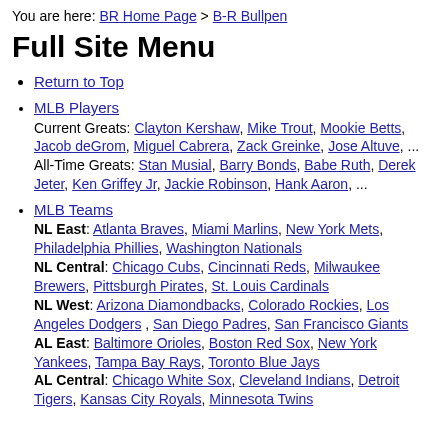You are here: BR Home Page > B-R Bullpen
Full Site Menu
Return to Top
MLB Players
Current Greats: Clayton Kershaw, Mike Trout, Mookie Betts, Jacob deGrom, Miguel Cabrera, Zack Greinke, Jose Altuve, ...
All-Time Greats: Stan Musial, Barry Bonds, Babe Ruth, Derek Jeter, Ken Griffey Jr, Jackie Robinson, Hank Aaron, ...
MLB Teams
NL East: Atlanta Braves, Miami Marlins, New York Mets, Philadelphia Phillies, Washington Nationals
NL Central: Chicago Cubs, Cincinnati Reds, Milwaukee Brewers, Pittsburgh Pirates, St. Louis Cardinals
NL West: Arizona Diamondbacks, Colorado Rockies, Los Angeles Dodgers, San Diego Padres, San Francisco Giants
AL East: Baltimore Orioles, Boston Red Sox, New York Yankees, Tampa Bay Rays, Toronto Blue Jays
AL Central: Chicago White Sox, Cleveland Indians, Detroit Tigers, Kansas City Royals, Minnesota Twins